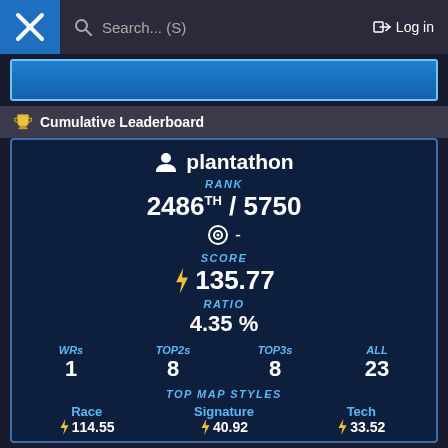Search... (S)   Log in
[Figure (screenshot): Blue banner area]
Cumulative Leaderboard
plantathon
RANK
2486TH / 5750
⊙ -
SCORE
135.77
RATIO
4.35 %
WRs: 1   TOP2s: 8   TOP3s: 8   ALL: 23
TOP MAP STYLES
Race ⚡114.55   Signature ⚡40.92   Tech ⚡33.52